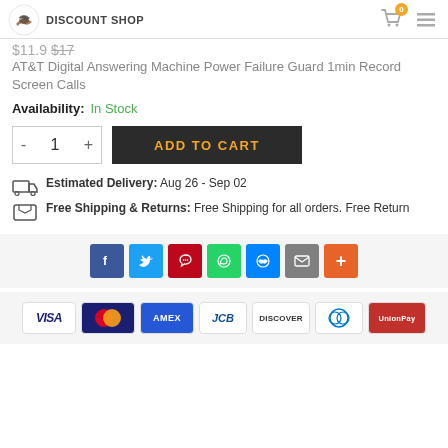DISCOUNT SHOP
$11.9 $17
AT&T Digital Answering Machine Power Failure Guard 1min Record Screen Calls
Availability: In Stock
- 1 + ADD TO CART
Estimated Delivery: Aug 26 - Sep 02
Free Shipping & Returns: Free Shipping for all orders. Free Return
[Figure (other): Social share buttons: Facebook, Twitter, Pinterest, WhatsApp, Messenger, Email, More]
[Figure (other): Payment method icons: VISA, Mastercard, AMEX, JCB, Discover, Diners Club, UnionPay]